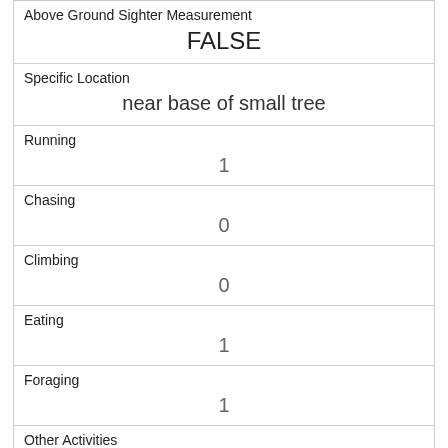| Above Ground Sighter Measurement | FALSE |
| Specific Location | near base of small tree |
| Running | 1 |
| Chasing | 0 |
| Climbing | 0 |
| Eating | 1 |
| Foraging | 1 |
| Other Activities |  |
| Kuks | 0 |
| Quaas | 0 |